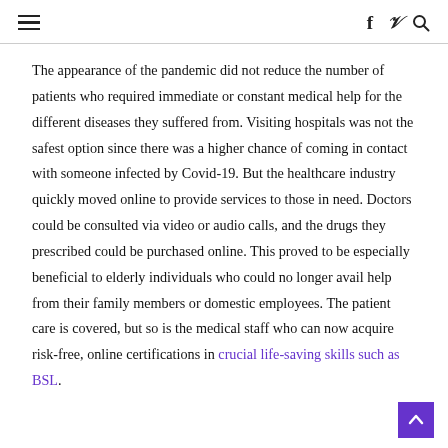≡  f  𝕏  🔍
The appearance of the pandemic did not reduce the number of patients who required immediate or constant medical help for the different diseases they suffered from. Visiting hospitals was not the safest option since there was a higher chance of coming in contact with someone infected by Covid-19. But the healthcare industry quickly moved online to provide services to those in need. Doctors could be consulted via video or audio calls, and the drugs they prescribed could be purchased online. This proved to be especially beneficial to elderly individuals who could no longer avail help from their family members or domestic employees. The patient care is covered, but so is the medical staff who can now acquire risk-free, online certifications in crucial life-saving skills such as BSL.